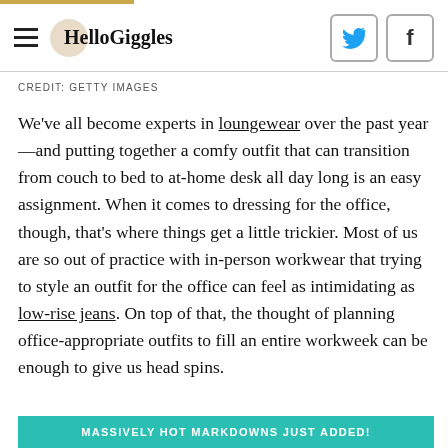HelloGiggles
CREDIT: GETTY IMAGES
We've all become experts in loungewear over the past year—and putting together a comfy outfit that can transition from couch to bed to at-home desk all day long is an easy assignment. When it comes to dressing for the office, though, that's where things get a little trickier. Most of us are so out of practice with in-person workwear that trying to style an outfit for the office can feel as intimidating as low-rise jeans. On top of that, the thought of planning office-appropriate outfits to fill an entire workweek can be enough to give us head spins.
MASSIVELY HOT MARKDOWNS JUST ADDED!